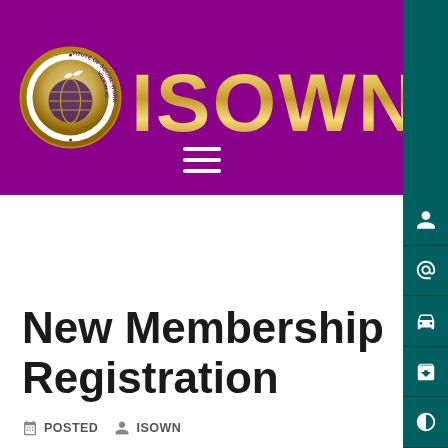[Figure (logo): ISOWN (Institute of Social Work of Nigeria) website header with circular gold seal logo and large gold ISOWN text on purple background]
New Membership Registration
POSTED  ISOWN